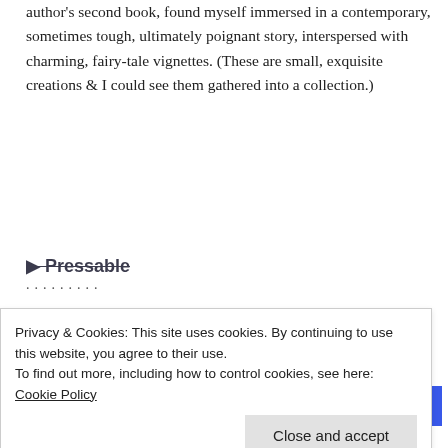author's second book, found myself immersed in a contemporary, sometimes tough, ultimately poignant story, interspersed with charming, fairy-tale vignettes. (These are small, exquisite creations & I could see them gathered into a collection.)
▶ Pressable
........
The Platform Where WordPress Works Best
[Figure (screenshot): SEE PRICING button in blue]
Privacy & Cookies: This site uses cookies. By continuing to use this website, you agree to their use.
To find out more, including how to control cookies, see here: Cookie Policy
Close and accept
The Beach Hut isn't about twists per se – it's a series